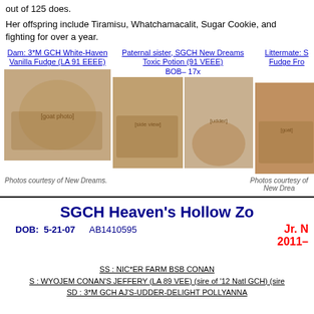out of 125 does.
Her offspring include Tiramisu, Whatchamacalit, Sugar Cookie, and fighting for over a year.
Dam: 3*M GCH White-Haven Vanilla Fudge (LA 91 EEEE)
Paternal sister, SGCH New Dreams Toxic Potion (91 VEEE) BOB– 17x
Littermate: S Fudge Fro
[Figure (photo): Photo of dam goat - White-Haven Vanilla Fudge]
[Figure (photo): Photo of paternal sister goat - SGCH New Dreams Toxic Potion, side view]
[Figure (photo): Photo of goat udder rear view]
[Figure (photo): Photo of littermate goat]
Photos courtesy of New Dreams.
Photos courtesy of New Drea
SGCH Heaven's Hollow Zo
DOB: 5-21-07   AB1410595   Jr. N 2011–
SS : NIC*ER FARM BSB CONAN
S : WYOJEM CONAN'S JEFFERY (LA 89 VEE) (sire of '12 Natl GCH) (sire
SD : 3*M GCH AJ'S-UDDER-DELIGHT POLLYANNA